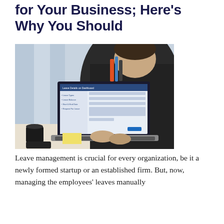for Your Business; Here's Why You Should
[Figure (photo): Person sitting at a desk viewed from behind, working on a laptop that shows a leave details dashboard with fields for Leave Types, Leave Balance, Start & End Date, and Request for Leave. A coffee mug, sticky note, and smartphone are on the desk.]
Leave management is crucial for every organization, be it a newly formed startup or an established firm. But, now, managing the employees' leaves manually